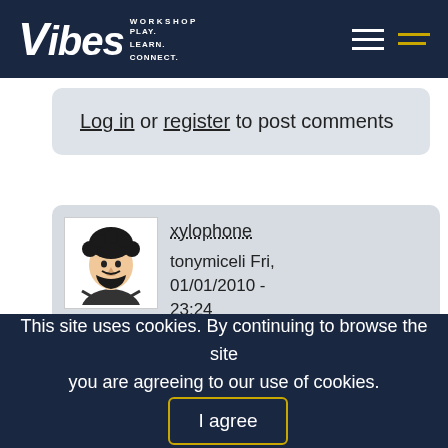Vibes Workshop — PLAY. LEARN. CONNECT.
Log in or register to post comments
xylophone
tonymiceli Fri, 01/01/2010 - 23:24
[Figure (illustration): Avatar illustration of a person with curly hair and beard]
that's a good addition david.
it's pretty pathetic that we play
This site uses cookies. By continuing to browse the site you are agreeing to our use of cookies. I agree